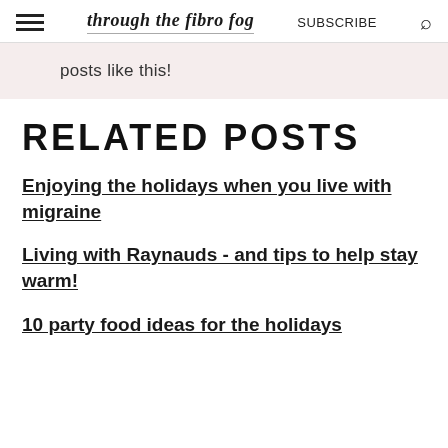through the fibro fog  SUBSCRIBE
posts like this!
RELATED POSTS
Enjoying the holidays when you live with migraine
Living with Raynauds - and tips to help stay warm!
10 party food ideas for the holidays